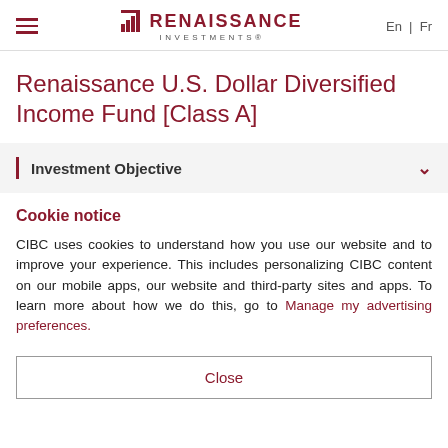Renaissance Investments — En | Fr
Renaissance U.S. Dollar Diversified Income Fund [Class A]
Investment Objective
Cookie notice
CIBC uses cookies to understand how you use our website and to improve your experience. This includes personalizing CIBC content on our mobile apps, our website and third-party sites and apps. To learn more about how we do this, go to Manage my advertising preferences.
Close